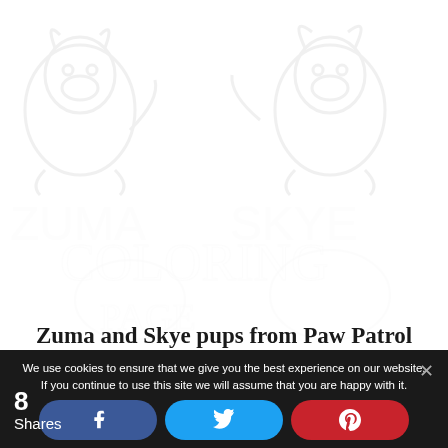[Figure (illustration): Watermark/background outlines of Paw Patrol characters (Zuma and Skye pups) shown as light grey line art behind the page content]
Zuma and Skye pups from Paw Patrol on printable coloring books in Zuma Paw Patrol Coloring Page
We use cookies to ensure that we give you the best experience on our website. If you continue to use this site we will assume that you are happy with it.
8 Shares